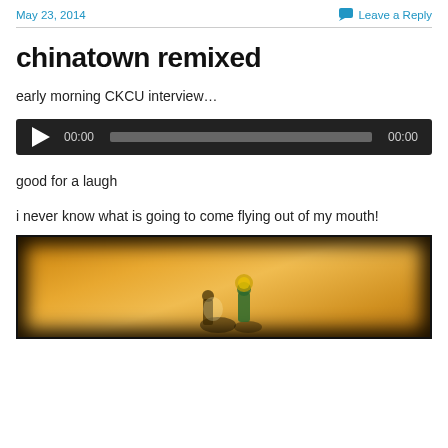May 23, 2014   Leave a Reply
chinatown remixed
early morning CKCU interview…
[Figure (other): Audio player widget with play button, time display 00:00, progress bar, and end time 00:00 on dark background]
good for a laugh
i never know what is going to come flying out of my mouth!
[Figure (photo): Photo with dark border showing a warm golden/amber background with small decorative figurines at the bottom]